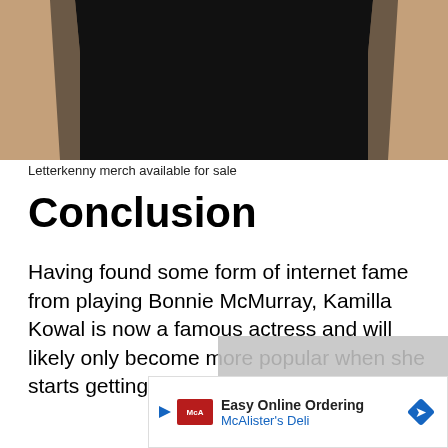[Figure (photo): Photo of a person wearing a black t-shirt, showing torso and arms against a white background. Arms are bare with skin-toned appearance on sides, black shirt in center.]
Letterkenny merch available for sale
Conclusion
Having found some form of internet fame from playing Bonnie McMurray, Kamilla Kowal is now a famous actress and will likely only become more popular when she starts getting bigger film roles in the future.
[Figure (screenshot): Video player overlay showing 'No compatible source was found for this media.' message with a red play button area.]
[Figure (screenshot): Advertisement banner for McAlister's Deli showing 'Easy Online Ordering' text.]